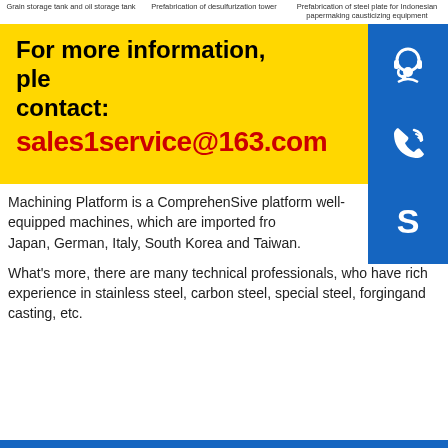Grain storage tank and oil storage tank
Prefabrication of desulfurization tower
Prefabrication of steel plate for Indonesian papermaking causticizing equipment
For more information, please contact:
sales1service@163.com
Machining Platform is a ComprehenSive platform well-equipped machines, which are imported from Japan, German, Italy, South Korea and Taiwan.
What's more, there are many technical professionals, who have rich experience in stainless steel, carbon steel, special steel, forgingand casting, etc.